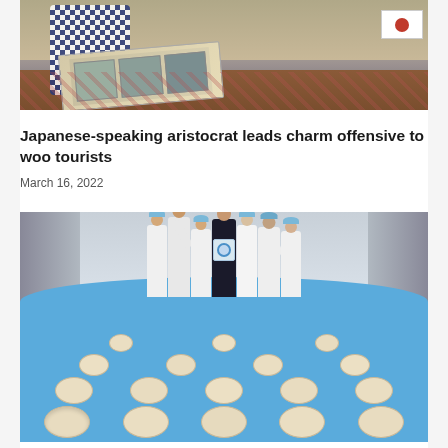[Figure (photo): Person in checkered shirt looking at a photo album/scrapbook on a table, with a Japanese flag visible on the right side]
Japanese-speaking aristocrat leads charm offensive to woo tourists
March 16, 2022
[Figure (photo): Group of workers in white lab coats and blue hairnets holding a quality award certificate, standing in front of a conveyor belt covered with rows of biscuits/cookies in a food manufacturing facility]